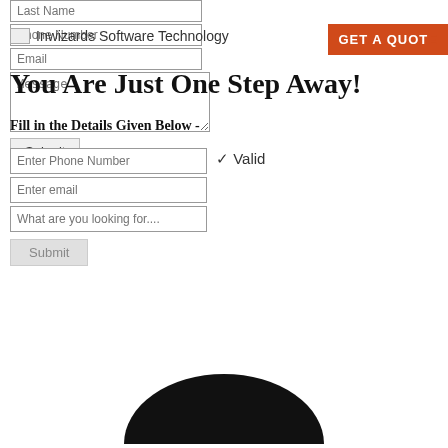[Figure (other): Web form with Last Name, Phone Number, Email, and Message fields, plus a Submit button at top of page]
[Figure (logo): Small icon and text reading 'Inwizards Software Technology']
[Figure (other): Orange 'GET A QUOTE' button at top right]
You Are Just One Step Away!
Fill in the Details Given Below -
[Figure (other): Form with Enter Phone Number (marked Valid with checkmark), Enter email, What are you looking for.... fields, and a Submit button]
[Figure (other): Partial black circular logo/icon at bottom center]